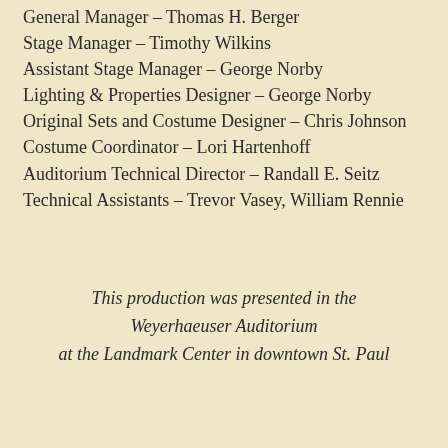General Manager – Thomas H. Berger
Stage Manager – Timothy Wilkins
Assistant Stage Manager – George Norby
Lighting & Properties Designer – George Norby
Original Sets and Costume Designer – Chris Johnson
Costume Coordinator – Lori Hartenhoff
Auditorium Technical Director – Randall E. Seitz
Technical Assistants – Trevor Vasey, William Rennie
This production was presented in the Weyerhaeuser Auditorium at the Landmark Center in downtown St. Paul